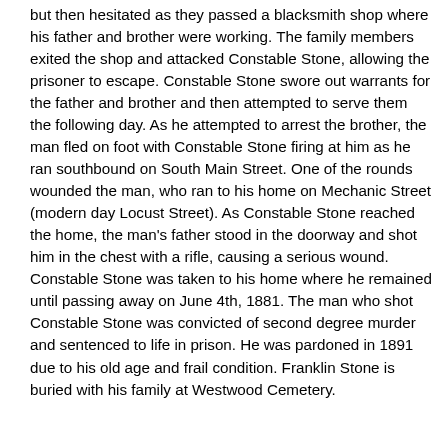but then hesitated as they passed a blacksmith shop where his father and brother were working. The family members exited the shop and attacked Constable Stone, allowing the prisoner to escape. Constable Stone swore out warrants for the father and brother and then attempted to serve them the following day. As he attempted to arrest the brother, the man fled on foot with Constable Stone firing at him as he ran southbound on South Main Street. One of the rounds wounded the man, who ran to his home on Mechanic Street (modern day Locust Street). As Constable Stone reached the home, the man's father stood in the doorway and shot him in the chest with a rifle, causing a serious wound. Constable Stone was taken to his home where he remained until passing away on June 4th, 1881. The man who shot Constable Stone was convicted of second degree murder and sentenced to life in prison. He was pardoned in 1891 due to his old age and frail condition. Franklin Stone is buried with his family at Westwood Cemetery.